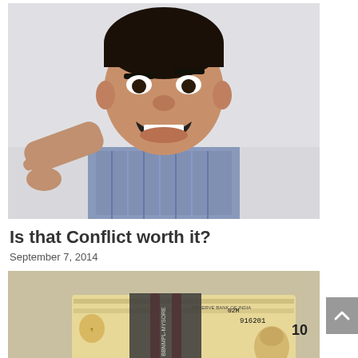[Figure (photo): A young man pointing his finger angrily toward the camera with mouth open, wearing a checkered shirt, against a light background]
Is that Conflict worth it?
September 7, 2014
[Figure (photo): A hand holding a stack of Indian currency banknotes (rupee notes) bundled with red rubber bands, with visible serial numbers and Reserve Bank of India markings]